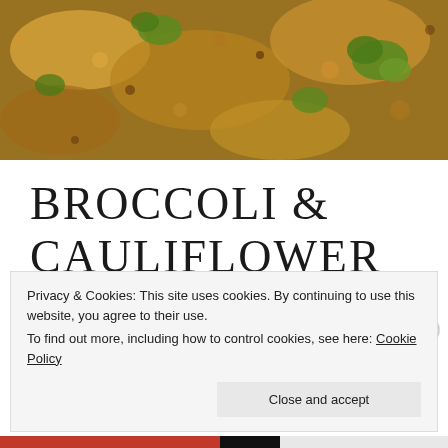[Figure (photo): Close-up food photo of broccoli and cauliflower puttu dish, showing crumbled golden-yellow spiced mixture with visible green broccoli florets on a dark surface]
BROCCOLI & CAULIFLOWER PUTTU
April 4, 2018   Leave a comment
Privacy & Cookies: This site uses cookies. By continuing to use this website, you agree to their use.
To find out more, including how to control cookies, see here: Cookie Policy
Close and accept